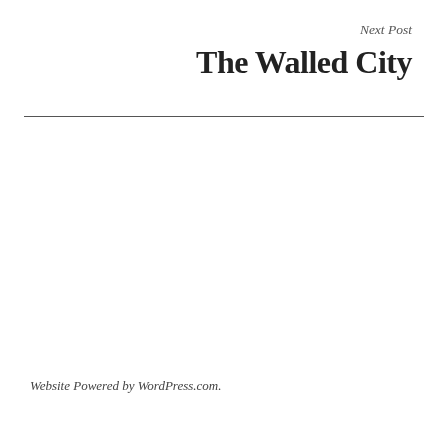Next Post
The Walled City
Website Powered by WordPress.com.